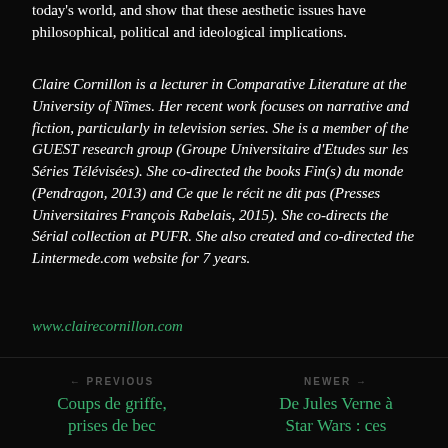today's world, and show that these aesthetic issues have philosophical, political and ideological implications.
Claire Cornillon is a lecturer in Comparative Literature at the University of Nîmes. Her recent work focuses on narrative and fiction, particularly in television series. She is a member of the GUEST research group (Groupe Universitaire d'Etudes sur les Séries Télévisées). She co-directed the books Fin(s) du monde (Pendragon, 2013) and Ce que le récit ne dit pas (Presses Universitaires François Rabelais, 2015). She co-directs the Sérial collection at PUFR. She also created and co-directed the Lintermede.com website for 7 years.
www.clairecornillon.com
← PREVIOUS Coups de griffe, prises de bec
NEWER → De Jules Verne à Star Wars : ces